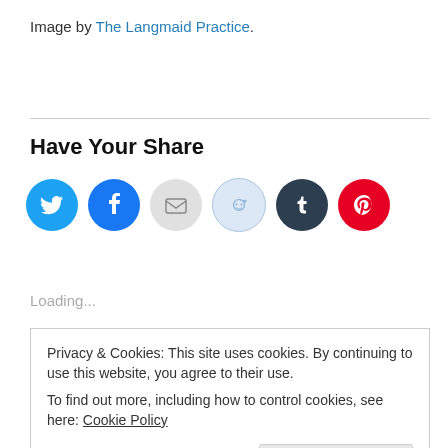Image by The Langmaid Practice.
Have Your Share
[Figure (other): Social sharing icons: Twitter, Facebook, Email, Reddit, Tumblr, Pinterest]
Loading...
Privacy & Cookies: This site uses cookies. By continuing to use this website, you agree to their use.
To find out more, including how to control cookies, see here: Cookie Policy
Close and accept